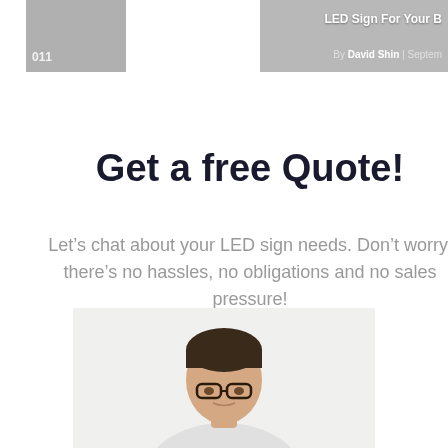[Figure (photo): Partial view of two image cards at top: left card shows a dark/grey thumbnail with text '011'; right card shows a grey image with overlay text 'LED Sign For Your B...' and byline 'By David Shin | Septem...']
Get a free Quote!
Let’s chat about your LED sign needs. Don’t worry, there’s no hassles, no obligations and no sales pressure!
[Figure (photo): Photo of a young man with glasses looking down, cropped at the bottom of the page]